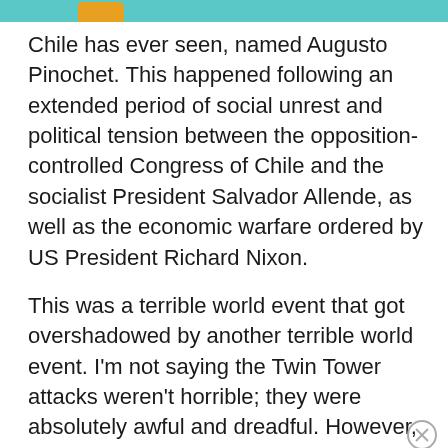Chile has ever seen, named Augusto Pinochet. This happened following an extended period of social unrest and political tension between the opposition-controlled Congress of Chile and the socialist President Salvador Allende, as well as the economic warfare ordered by US President Richard Nixon.
This was a terrible world event that got overshadowed by another terrible world event. I'm not saying the Twin Tower attacks weren't horrible; they were absolutely awful and dreadful. However, it's important to remember both events and be aware of it